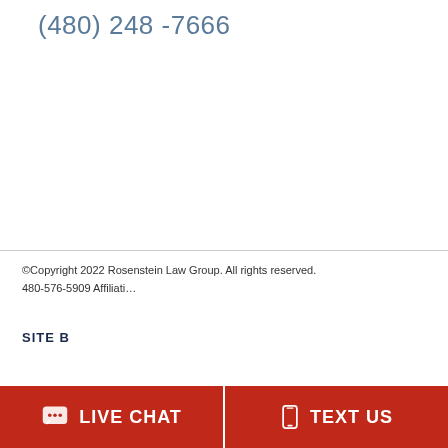(480) 248 -7666
©Copyright 2022 Rosenstein Law Group. All rights reserved. 480-576-5909 Affiliati...
SITE B
[Figure (screenshot): Chat popup with agent William saying 'Welcome to Rosenstein Law Group! How can we help you?' with Online Agent badge and close button]
LIVE CHAT
TEXT US